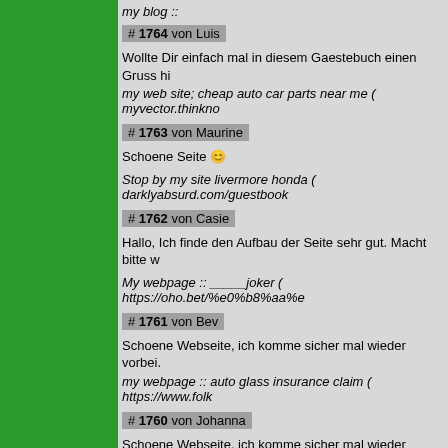my blog ::
# 1764 von Luis
Wollte Dir einfach mal in diesem Gaestebuch einen Gruss hi
my web site; cheap auto car parts near me ( myvector.thinkno
# 1763 von Maurine
Schoene Seite ☺
Stop by my site livermore honda ( darklyabsurd.com/guestbook
# 1762 von Casie
Hallo, Ich finde den Aufbau der Seite sehr gut. Macht bitte w
My webpage :: _____joker ( https://oho.bet/%e0%b8%aa%e
# 1761 von Bev
Schoene Webseite, ich komme sicher mal wieder vorbei.
my webpage :: auto glass insurance claim ( https://www.folk
# 1760 von Johanna
Schoene Webseite, ich komme sicher mal wieder vorbei.
my site; https://casinoxx.net/avtomaty-maxbet-na-realnye-m
# 1759 von Jeanna
Hallo, Ich finde den Aufbau der Webseite klasse.
Macht bitte weiter so.
Also visit my blog post :: PGSLOT ________ ( https://Pgslot-
# 1758 von Nicolas
Wollte Dir einfach mal in diesem Gaestebuch einen Gruss hi